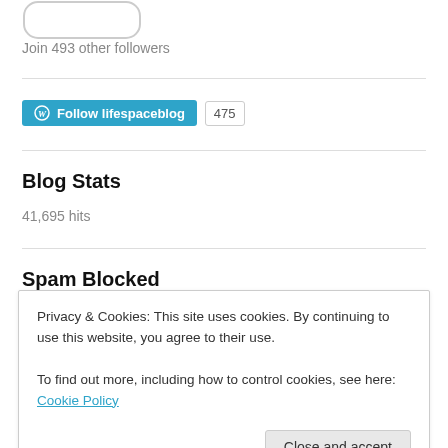[Figure (other): WordPress follow button widget showing a rounded rectangle button shape at the top]
Join 493 other followers
[Figure (other): WordPress Follow lifespaceblog button (teal) with follower count badge showing 475]
Blog Stats
41,695 hits
Spam Blocked
Privacy & Cookies: This site uses cookies. By continuing to use this website, you agree to their use.
To find out more, including how to control cookies, see here: Cookie Policy
Close and accept
Recent Posts